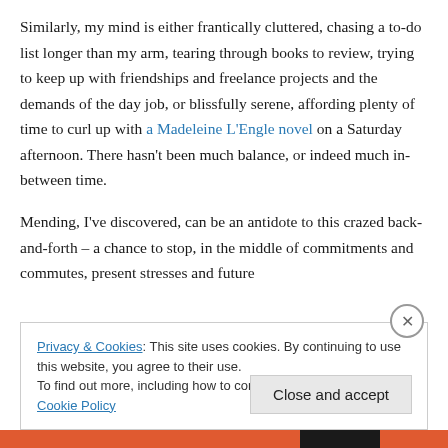Similarly, my mind is either frantically cluttered, chasing a to-do list longer than my arm, tearing through books to review, trying to keep up with friendships and freelance projects and the demands of the day job, or blissfully serene, affording plenty of time to curl up with a Madeleine L'Engle novel on a Saturday afternoon. There hasn't been much balance, or indeed much in-between time.
Mending, I've discovered, can be an antidote to this crazed back-and-forth – a chance to stop, in the middle of commitments and commutes, present stresses and future
Privacy & Cookies: This site uses cookies. By continuing to use this website, you agree to their use.
To find out more, including how to control cookies, see here: Cookie Policy